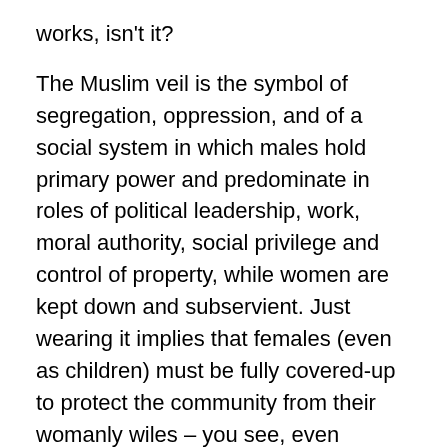works, isn't it?
The Muslim veil is the symbol of segregation, oppression, and of a social system in which males hold primary power and predominate in roles of political leadership, work, moral authority, social privilege and control of property, while women are kept down and subservient. Just wearing it implies that females (even as children) must be fully covered-up to protect the community from their womanly wiles – you see, even showing their faces represent a grave danger to men and society, eh? Surely, that is something that we cannot accept in any British community, is it?
No, and the majority of the population (60%?) are increasingly in favour of a total ban of wearing that kind of garb in a public place, aren't they? Yep, but democracy in